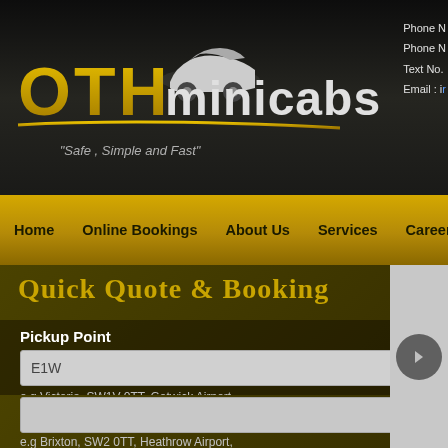[Figure (logo): OTH Minicabs logo with car illustration, gold and white text on dark background. Tagline: Safe, Simple and Fast]
Phone N
Phone N
Text No.
Email : ir
Home   Online Bookings   About Us   Services   Careers
Quick Quote & Booking
Pickup Point
E1W
e.g Victoria, SW1V 0TT, Gatwick Airport
Drop Off Point
e.g Brixton, SW2 0TT, Heathrow Airport,
Get Price »